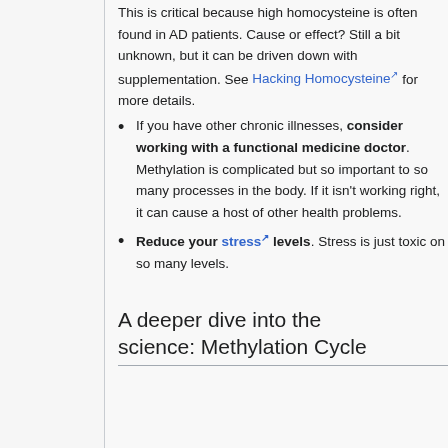This is critical because high homocysteine is often found in AD patients. Cause or effect? Still a bit unknown, but it can be driven down with supplementation. See Hacking Homocysteine for more details.
If you have other chronic illnesses, consider working with a functional medicine doctor. Methylation is complicated but so important to so many processes in the body. If it isn't working right, it can cause a host of other health problems.
Reduce your stress levels. Stress is just toxic on so many levels.
A deeper dive into the science: Methylation Cycle